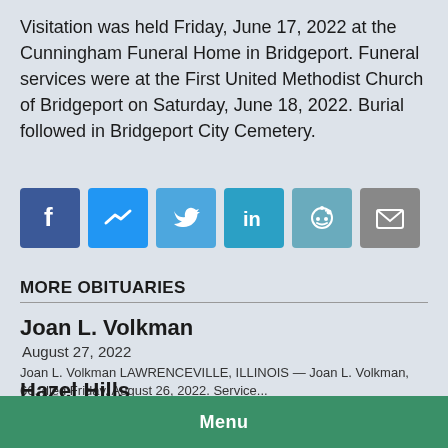Visitation was held Friday, June 17, 2022 at the Cunningham Funeral Home in Bridgeport. Funeral services were at the First United Methodist Church of Bridgeport on Saturday, June 18, 2022. Burial followed in Bridgeport City Cemetery.
[Figure (infographic): Row of six social media share buttons: Facebook, Messenger, Twitter, LinkedIn, Reddit, Email]
MORE OBITUARIES
Joan L. Volkman
August 27, 2022
Joan L. Volkman LAWRENCEVILLE, ILLINOIS — Joan L. Volkman, 66, died Friday, August 26, 2022. Service...
Hazel Hills
August 16, 2022
Menu